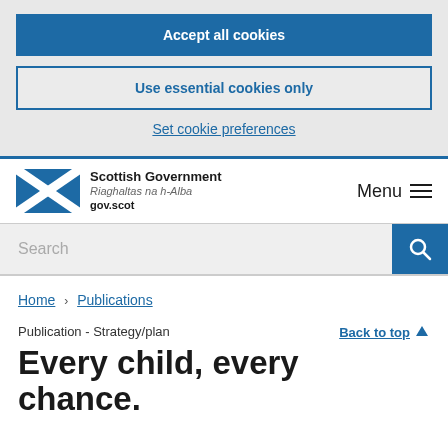Accept all cookies
Use essential cookies only
Set cookie preferences
[Figure (logo): Scottish Government logo with Saltire flag and text: Scottish Government, Riaghaltas na h-Alba, gov.scot]
Menu
Search
Home > Publications
Publication - Strategy/plan
Back to top ↑
Every child, every chance.